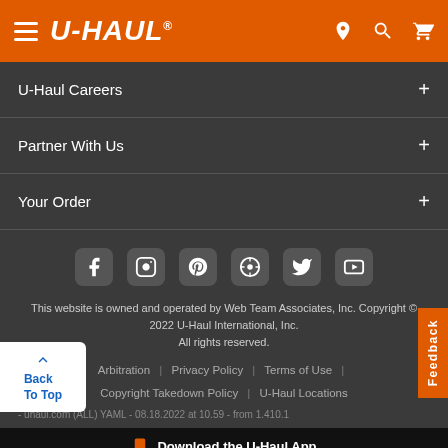[Figure (screenshot): U-Haul website header with orange background, hamburger menu, U-Haul logo, and location/search/cart icons]
U-Haul Careers +
Partner With Us +
Your Order +
[Figure (illustration): Social media icons row: Facebook, Instagram, Pinterest, WordPress, Twitter, YouTube]
This website is owned and operated by Web Team Associates, Inc. Copyright © 2022 U-Haul International, Inc. All rights reserved.
Arbitration | Privacy Policy | Terms of Use | Copyright Takedown Policy | U-Haul Locations
- uhaul.com (ALL) YAML - 08.18.2022 at 10.59 - from 1.410.1
Back To Top
Feedback
Download the U-Haul App